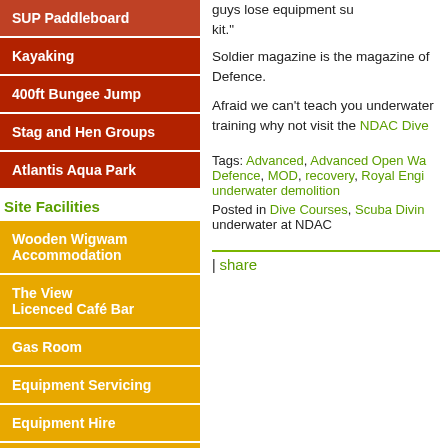SUP Paddleboard
Kayaking
400ft Bungee Jump
Stag and Hen Groups
Atlantis Aqua Park
Site Facilities
Wooden Wigwam Accommodation
The View Licenced Café Bar
Gas Room
Equipment Servicing
Equipment Hire
Diving Shop
Water View Marquee Hire
Weddings
guys lose equipment su... kit."
Soldier magazine is the magazine of... Defence.
Afraid we can't teach you underwater... training why not visit the NDAC Dive...
Tags: Advanced, Advanced Open Wa... Defence, MOD, recovery, Royal Engi... underwater demolition
Posted in Dive Courses, Scuba Divin... underwater at NDAC
| share